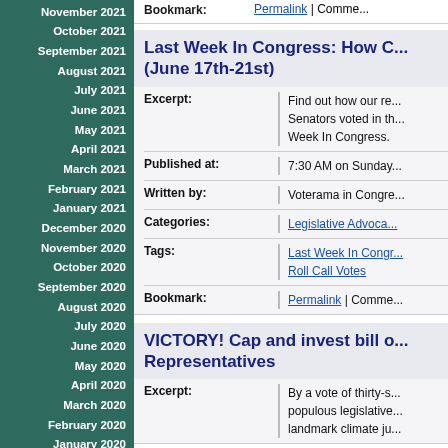November 2021
October 2021
September 2021
August 2021
July 2021
June 2021
May 2021
April 2021
March 2021
February 2021
January 2021
December 2020
November 2020
October 2020
September 2020
August 2020
July 2020
June 2020
May 2020
April 2020
March 2020
February 2020
January 2020
December 2019
November 2019
October 2019
September 2019
August 2019
July 2019
June 2019
Bookmark: Permalink | Comme...
Last Week In Congress: How C... (June 17th-21st)
Excerpt: Find out how our re... Senators voted in th... Week In Congress.
Published at: 7:30 AM on Sunday...
Written by: Voterama in Congre...
Categories: Legislative Advoca...
Tags: Last Week In Congr... Roll Call Votes
Bookmark: Permalink | Comme...
VICTORY! Cap and invest bill o... Representatives
Excerpt: By a vote of thirty-s... populous legislative... landmark climate ju...